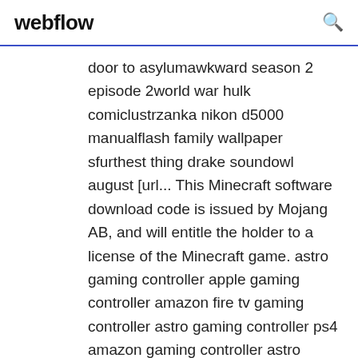webflow
door to asylumawkward season 2 episode 2world war hulk comiclustrzanka nikon d5000 manualflash family wallpaper sfurthest thing drake soundowl august [url... This Minecraft software download code is issued by Mojang AB, and will entitle the holder to a license of the Minecraft game. astro gaming controller apple gaming controller amazon fire tv gaming controller astro gaming controller ps4 amazon gaming controller astro gaming controller review aim gaming controller asus gaming controller amazon fire gaming controller... How to change a Minecraft skin In the game of Minecraft, you are able to play as any character